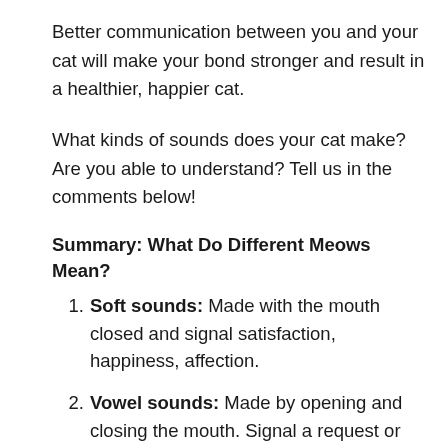Better communication between you and your cat will make your bond stronger and result in a healthier, happier cat.
What kinds of sounds does your cat make? Are you able to understand? Tell us in the comments below!
Summary: What Do Different Meows Mean?
Soft sounds: Made with the mouth closed and signal satisfaction, happiness, affection.
Vowel sounds: Made by opening and closing the mouth. Signal a request or complaint.
Loud sounds: Made by opening the mouth